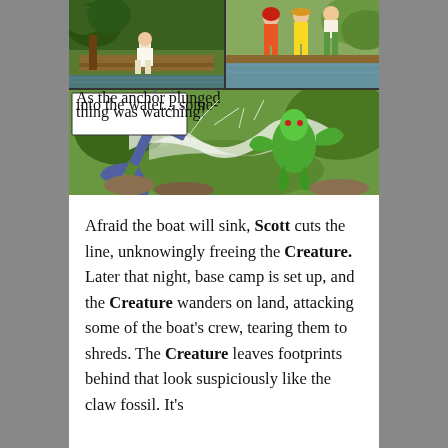[Figure (illustration): Two comic book panels. Top panel shows people near a dock/jungle setting. Bottom panel shows a large anchor plunging into water with a green swamp creature being flung or freed, with a speech bubble caption reading 'As the anchor plunged into the water... something was watching!']
Afraid the boat will sink, Scott cuts the line, unknowingly freeing the Creature. Later that night, base camp is set up, and the Creature wanders on land, attacking some of the boat's crew, tearing them to shreds. The Creature leaves footprints behind that look suspiciously like the claw fossil. It's